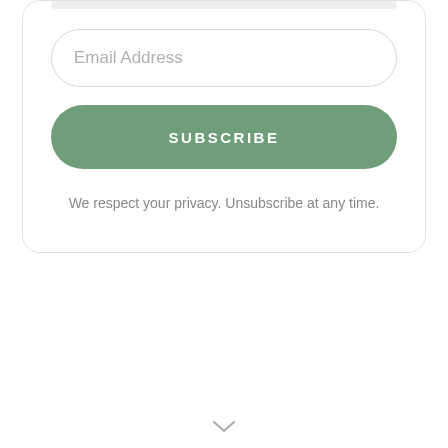Email Address
SUBSCRIBE
We respect your privacy. Unsubscribe at any time.